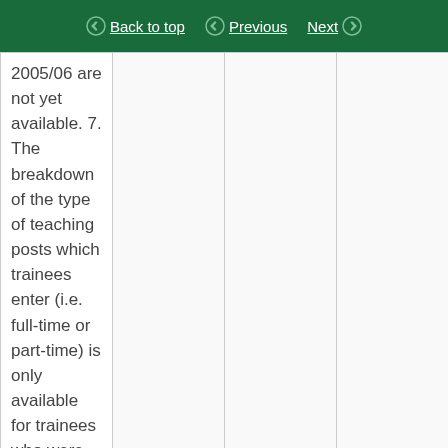Back to top | Previous | Next
| 2005/06 are not yet available. 7. The breakdown of the type of teaching posts which trainees enter (i.e. full-time or part-time) is only available for trainees who were awarded QTS in 2002/03 onwards. 8. |  |  |  |